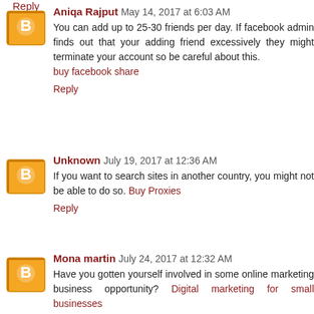Reply
Aniqa Rajput May 14, 2017 at 6:03 AM
You can add up to 25-30 friends per day. If facebook admin finds out that your adding friend excessively they might terminate your account so be careful about this.
buy facebook share
Reply
Unknown July 19, 2017 at 12:36 AM
If you want to search sites in another country, you might not be able to do so. Buy Proxies
Reply
Mona martin July 24, 2017 at 12:32 AM
Have you gotten yourself involved in some online marketing business opportunity? Digital marketing for small businesses